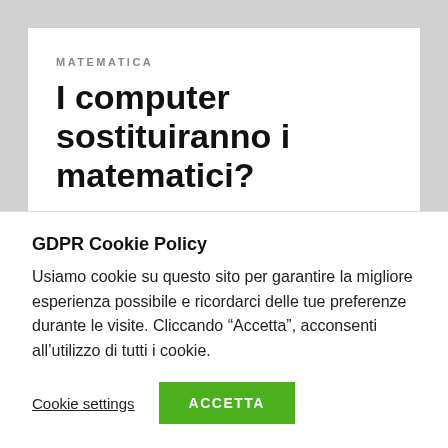MATEMATICA
I computer sostituiranno i matematici?
I recenti sviluppi dell'informatica, e in particolare del machine learning, aprono le porte a molte riflessioni sulla natura dell'intelligenza, dell'apprendimento, della conoscenza. Il titolo di un articolo pubblicato
GDPR Cookie Policy
Usiamo cookie su questo sito per garantire la migliore esperienza possibile e ricordarci delle tue preferenze durante le visite. Cliccando “Accetta”, acconsenti all’utilizzo di tutti i cookie.
Cookie settings ACCETTA